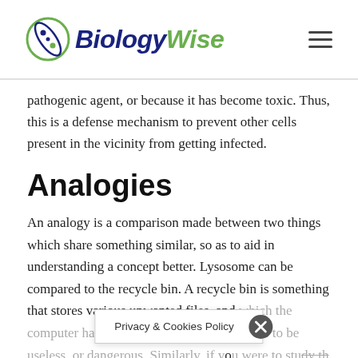BiologyWise
pathogenic agent, or because it has become toxic. Thus, this is a defense mechanism to prevent other cells present in the vicinity from getting infected.
Analogies
An analogy is a comparison made between two things which share something similar, so as to aid in understanding a concept better. Lysosome can be compared to the recycle bin. A recycle bin is something that stores various unwanted files, and which the computer has discarded considering the files to be useless, or dangerous. Similarly, if you were to study th... then you will realize that this i... are various enzyme...
Privacy & Cookies Policy